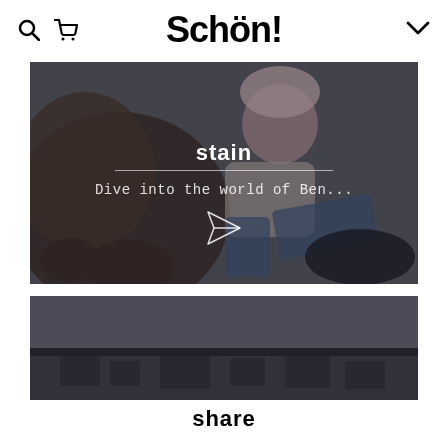Schön!
[Figure (photo): Fashion photo of a woman sitting against a large brown teddy bear, wearing a pink fuzzy hat and jeans, with overlay text 'stain', a horizontal line, text 'Dive into the world of Ben...', and a paper plane icon]
[Figure (photo): Partial fashion photo showing a rooftop urban scene, partially visible]
share